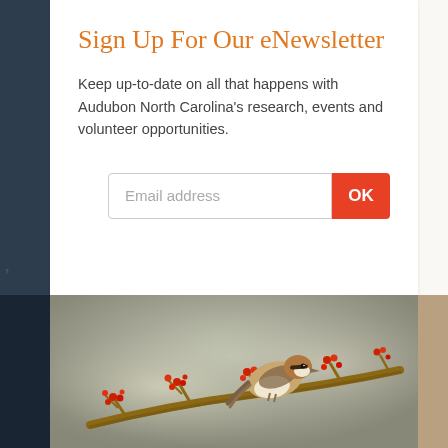Sign Up For Our eNewsletter
Keep up-to-date on all that happens with Audubon North Carolina's research, events and volunteer opportunities.
[Figure (screenshot): Email address input field with OK button for newsletter signup]
[Figure (photo): A small brown and white bird perched on a branch with red flowering buds, photographed against a blurred grey-green background]